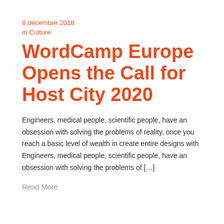8 décembre 2018
in Culture
WordCamp Europe Opens the Call for Host City 2020
Engineers, medical people, scientific people, have an obsession with solving the problems of reality, once you reach a basic level of wealth in create entire designs with Engineers, medical people, scientific people, have an obsession with solving the problems of […]
Read More